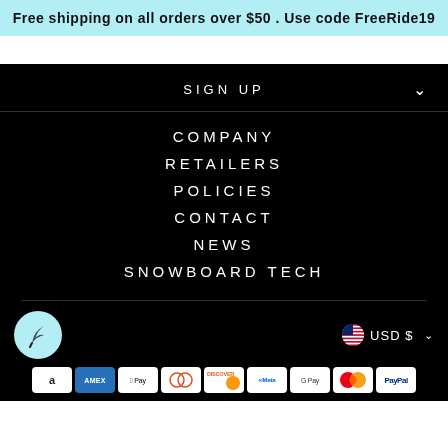Free shipping on all orders over $50 . Use code FreeRide19
SIGN UP
COMPANY
RETAILERS
POLICIES
CONTACT
NEWS
SNOWBOARD TECH
USD $
[Figure (logo): Brand logo: light blue circle with feather/pen icon]
[Figure (infographic): Payment method icons: Amazon, AMEX, Apple Pay, Diners Club, Discover, Meta, Google Pay, Mastercard, PayPal]